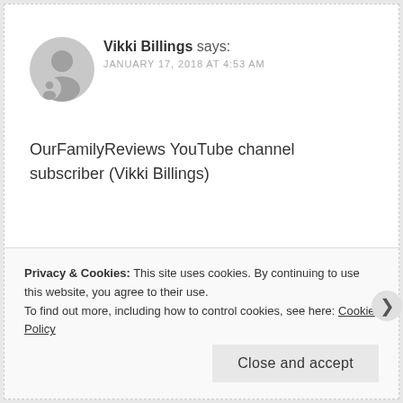[Figure (illustration): Grey circular avatar/profile placeholder icon]
Vikki Billings says:
JANUARY 17, 2018 AT 4:53 AM
OurFamilyReviews YouTube channel subscriber (Vikki Billings)
★ Like
Privacy & Cookies: This site uses cookies. By continuing to use this website, you agree to their use.
To find out more, including how to control cookies, see here: Cookie Policy
Close and accept